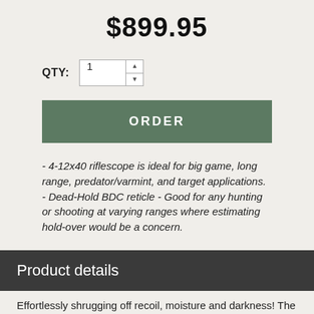$899.95
QTY: 1
ORDER
- 4-12x40 riflescope is ideal for big game, long range, predator/varmint, and target applications. - Dead-Hold BDC reticle - Good for any hunting or shooting at varying ranges where estimating hold-over would be a concern.
Product details
Effortlessly shrugging off recoil, moisture and darkness! The Viper's status as a premium riflescope won't be as easy to shake. Discover a riflescope with incredible performance